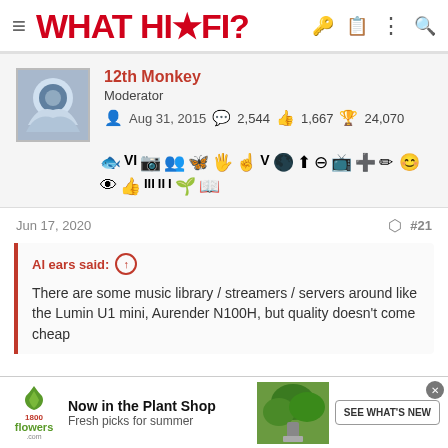WHAT HI-FI?
12th Monkey
Moderator
Aug 31, 2015  2,544  1,667  24,070
Jun 17, 2020  #21
Al ears said: ↑

There are some music library / streamers / servers around like the Lumin U1 mini, Aurender N100H, but quality doesn't come cheap
[Figure (screenshot): 1800flowers.com advertisement banner: Now in the Plant Shop. Fresh picks for summer. SEE WHAT'S NEW button with plant image.]